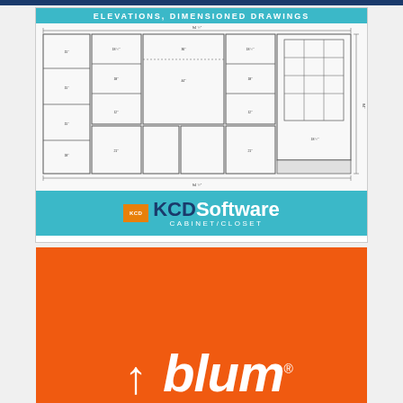[Figure (engineering-diagram): KCD Software Cabinet/Closet advertisement showing elevation dimensioned drawing of cabinetry with teal header reading 'ELEVATIONS, DIMENSIONED DRAWINGS' and teal footer with KCD Software logo and 'CABINET/CLOSET' text]
[Figure (logo): Blum brand logo on orange background with white italic text 'blum' and an upward arrow icon, with registered trademark symbol]